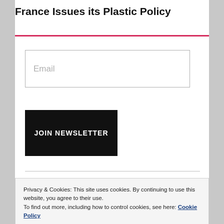France Issues its Plastic Policy
Email
JOIN NEWSLETTER
Privacy & Cookies: This site uses cookies. By continuing to use this website, you agree to their use.
To find out more, including how to control cookies, see here: Cookie Policy
Close and accept
[Figure (photo): Two hands visible at the bottom of the page, suggesting a handshake or interaction.]